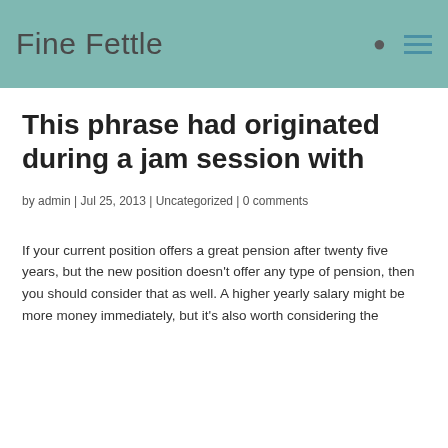Fine Fettle
This phrase had originated during a jam session with
by admin | Jul 25, 2013 | Uncategorized | 0 comments
If your current position offers a great pension after twenty five years, but the new position doesn't offer any type of pension, then you should consider that as well. A higher yearly salary might be more money immediately, but it's also worth considering the